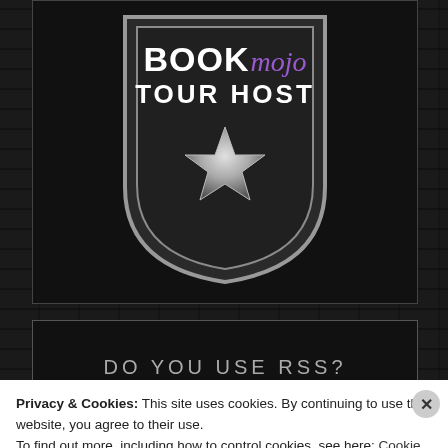[Figure (logo): BookMojo Tour Host badge/shield logo on dark brick background. Shield shape with 'book' in white bold uppercase, 'mojo' in purple italic script, 'TOUR HOST' in white bold uppercase below, and a silver star emblem in the center of the shield.]
DO YOU USE RSS?
Privacy & Cookies: This site uses cookies. By continuing to use this website, you agree to their use.
To find out more, including how to control cookies, see here: Cookie Policy
Close and accept